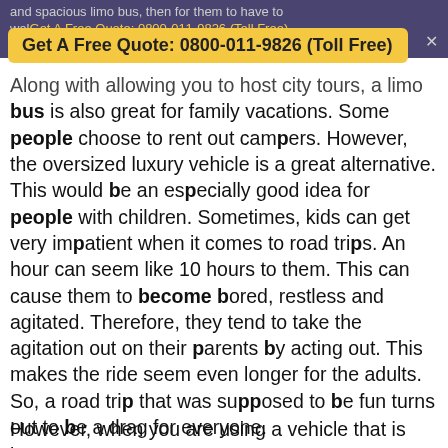and spacious limo bus, then for them to have to wal...
Get A Free Quote: 0800-011-9826 (Toll Free)
Along with allowing you to host city tours, a limo bus is also great for family vacations. Some people choose to rent out campers. However, the oversized luxury vehicle is a great alternative. This would be an especially good idea for people with children. Sometimes, kids can get very impatient when it comes to road trips. An hour can seem like 10 hours to them. This can cause them to become bored, restless and agitated. Therefore, they tend to take the agitation out on their parents by acting out. This makes the ride seem even longer for the adults. So, a road trip that was supposed to be fun turns out to be a drag for everyone.
However, when you are using a vehicle that is large